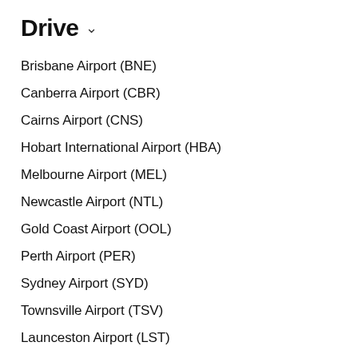Drive
Brisbane Airport (BNE)
Canberra Airport (CBR)
Cairns Airport (CNS)
Hobart International Airport (HBA)
Melbourne Airport (MEL)
Newcastle Airport (NTL)
Gold Coast Airport (OOL)
Perth Airport (PER)
Sydney Airport (SYD)
Townsville Airport (TSV)
Launceston Airport (LST)
Darwin Airport (DRW)
Sunshine Coast Airport (MCY)